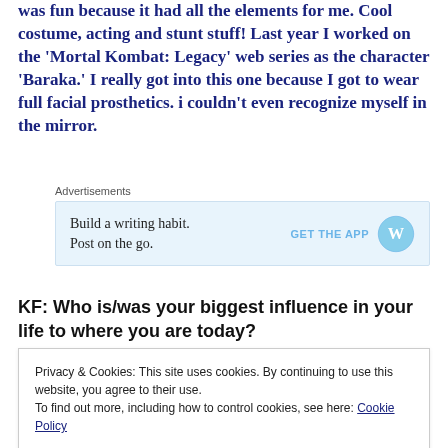was fun because it had all the elements for me. Cool costume, acting and stunt stuff! Last year I worked on the 'Mortal Kombat: Legacy' web series as the character 'Baraka.' I really got into this one because I got to wear full facial prosthetics. i couldn't even recognize myself in the mirror.
[Figure (other): WordPress advertisement banner: 'Build a writing habit. Post on the go. GET THE APP' with WordPress logo]
KF:  Who is/was your biggest influence in your life to where you are today?
Privacy & Cookies: This site uses cookies. By continuing to use this website, you agree to their use.
To find out more, including how to control cookies, see here: Cookie Policy
Close and accept
PA:  Excuses are plentiful and easy to find. Results